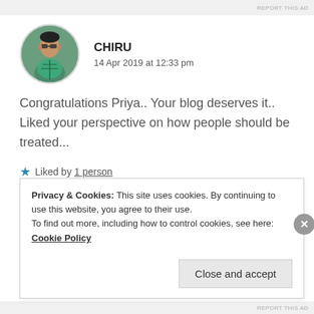REPORT THIS AD
[Figure (photo): Circular avatar photo of a young man wearing sunglasses and a teal/green checked shirt, standing outdoors]
CHIRU
14 Apr 2019 at 12:33 pm
Congratulations Priya.. Your blog deserves it.. Liked your perspective on how people should be treated...
★ Liked by 1 person
REPLY
Privacy & Cookies: This site uses cookies. By continuing to use this website, you agree to their use.
To find out more, including how to control cookies, see here: Cookie Policy
Close and accept
REPORT THIS AD